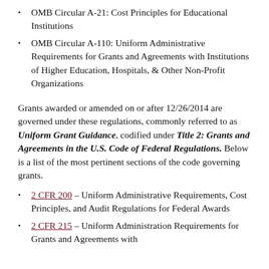OMB Circular A-21: Cost Principles for Educational Institutions
OMB Circular A-110: Uniform Administrative Requirements for Grants and Agreements with Institutions of Higher Education, Hospitals, & Other Non-Profit Organizations
Grants awarded or amended on or after 12/26/2014 are governed under these regulations, commonly referred to as Uniform Grant Guidance, codified under Title 2: Grants and Agreements in the U.S. Code of Federal Regulations. Below is a list of the most pertinent sections of the code governing grants.
2 CFR 200 – Uniform Administrative Requirements, Cost Principles, and Audit Regulations for Federal Awards
2 CFR 215 – Uniform Administration Requirements for Grants and Agreements with